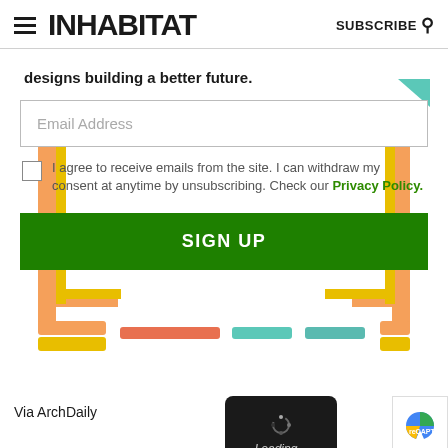INHABITAT | SUBSCRIBE
designs building a better future.
Email Address
I agree to receive emails from the site. I can withdraw my consent at anytime by unsubscribing. Check our Privacy Policy.
SIGN UP
Via ArchDaily
[Figure (screenshot): Loading spinner overlay with dark background showing a spinning dots indicator and 'Loading...' text in italic]